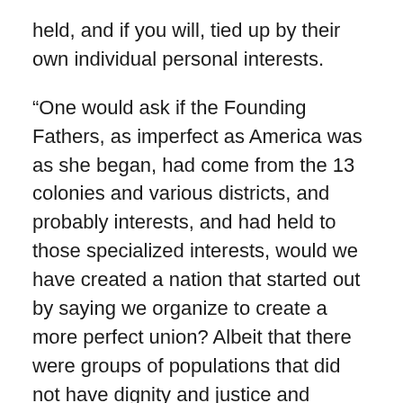held, and if you will, tied up by their own individual personal interests.
“One would ask if the Founding Fathers, as imperfect as America was as she began, had come from the 13 colonies and various districts, and probably interests, and had held to those specialized interests, would we have created a nation that started out by saying we organize to create a more perfect union? Albeit that there were groups of populations that did not have dignity and justice and citizenship at that time, something that I could look back at in bitterness, but I do not, because this is the greatest nation in the world. But we are not showing ourselves that way.
“It is not the truth to suggest that there are not enough voters, members of Congress, that would vote right now